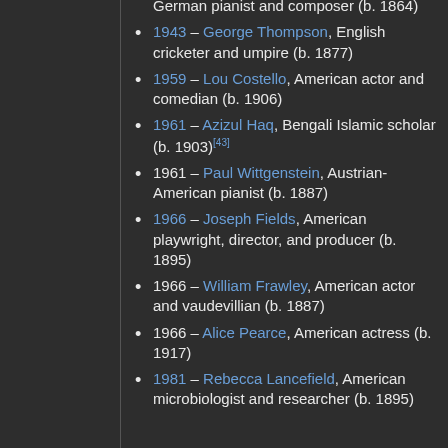German pianist and composer (b. 1864)
1943 – George Thompson, English cricketer and umpire (b. 1877)
1959 – Lou Costello, American actor and comedian (b. 1906)
1961 – Azizul Haq, Bengali Islamic scholar (b. 1903)[43]
1961 – Paul Wittgenstein, Austrian-American pianist (b. 1887)
1966 – Joseph Fields, American playwright, director, and producer (b. 1895)
1966 – William Frawley, American actor and vaudevillian (b. 1887)
1966 – Alice Pearce, American actress (b. 1917)
1981 – Rebecca Lancefield, American microbiologist and researcher (b. 1895)